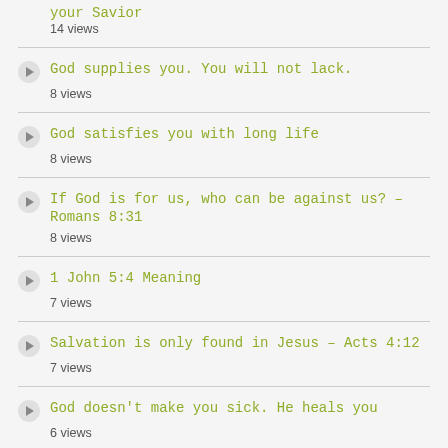your Savior
14 views
God supplies you. You will not lack.
8 views
God satisfies you with long life
8 views
If God is for us, who can be against us? – Romans 8:31
8 views
1 John 5:4 Meaning
7 views
Salvation is only found in Jesus – Acts 4:12
7 views
God doesn't make you sick. He heals you
6 views